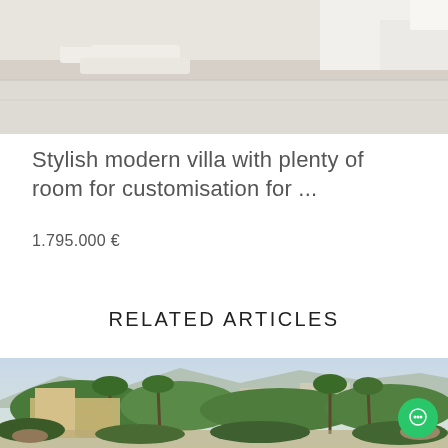[Figure (photo): Top portion of a modern villa with white/light concrete surfaces, outdoor furniture visible, aerial/elevated view]
Stylish modern villa with plenty of room for customisation for ...
1.795.000 €
RELATED ARTICLES
[Figure (photo): Aerial view of a luxury villa surrounded by palm trees and lush Mediterranean vegetation, mountains and coastline in the background, dusk/twilight sky]